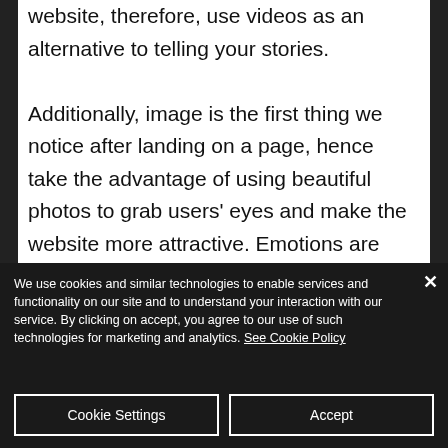website, therefore, use videos as an alternative to telling your stories. Additionally, image is the first thing we notice after landing on a page, hence take the advantage of using beautiful photos to grab users' eyes and make the website more attractive. Emotions are contagious, hence using smiley faces can create a more pleasant user
We use cookies and similar technologies to enable services and functionality on our site and to understand your interaction with our service. By clicking on accept, you agree to our use of such technologies for marketing and analytics. See Cookie Policy